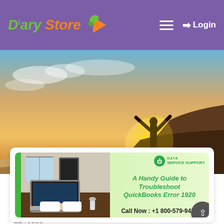Diary Store — Login
[Figure (photo): Hero image of a person silhouetted against a sunset sky, standing on a rocky cliff edge with arms raised in triumph]
[Figure (illustration): Promotional card for 'A Handy Guide to Troubleshoot QuickBooks Error 1920' with office laptop photo, Data Service Support badge, and call now phone number +1 800-579-9430]
22 reads